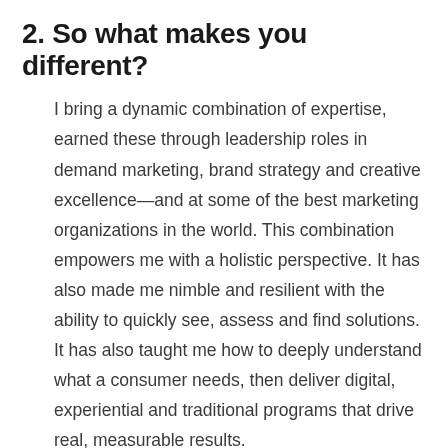2. So what makes you different?
I bring a dynamic combination of expertise, earned these through leadership roles in demand marketing, brand strategy and creative excellence—and at some of the best marketing organizations in the world. This combination empowers me with a holistic perspective. It has also made me nimble and resilient with the ability to quickly see, assess and find solutions. It has also taught me how to deeply understand what a consumer needs, then deliver digital, experiential and traditional programs that drive real, measurable results.
3. What industries and categories